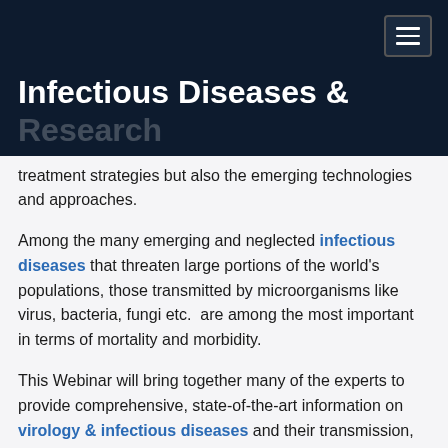Infectious Diseases & Research
treatment strategies but also the emerging technologies and approaches.
Among the many emerging and neglected infectious diseases that threaten large portions of the world's populations, those transmitted by microorganisms like virus, bacteria, fungi etc.  are among the most important in terms of mortality and morbidity.
This Webinar will bring together many of the experts to provide comprehensive, state-of-the-art information on virology & infectious diseases and their transmission, epidemiology and disease control, host defense and human immune responses to infection, diagnosis, pathogenesis and treatment, and vaccines and therapeutics.